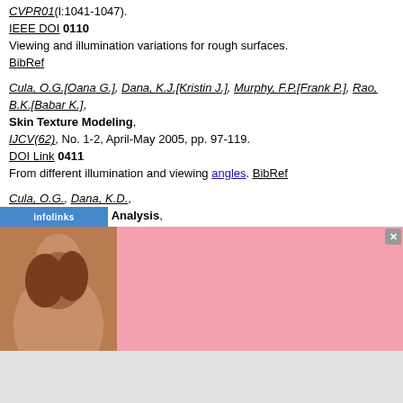CVPR01(l:1041-1047). IEEE DOI 0110 Viewing and illumination variations for rough surfaces. BibRef
Cula, O.G.[Oana G.], Dana, K.J.[Kristin J.], Murphy, F.P.[Frank P.], Rao, B.K.[Babar K.], Skin Texture Modeling, IJCV(62), No. 1-2, April-May 2005, pp. 97-119. DOI Link 0411 From different illumination and viewing angles. BibRef
Cula, O.G., Dana, K.D., Image-based Skin Analysis, Texture02(35-40). 0207 BibRef
Dana, K.J.[Kristin J.], Cula, O.G.[Oana G.], Wang, J.[Jing], Surface detail in computer models, No. 7-1, July 2007, pp. 1037-1040.
[Figure (photo): Victoria's Secret advertisement banner with a woman model and shop prompt]